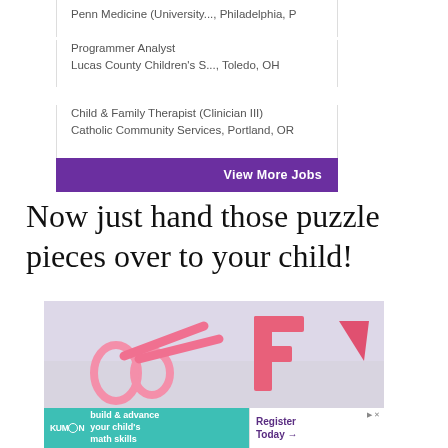Penn Medicine (University..., Philadelphia, P
Programmer Analyst
Lucas County Children's S..., Toledo, OH
Child & Family Therapist (Clinician III)
Catholic Community Services, Portland, OR
View More Jobs
Now just hand those puzzle pieces over to your child!
[Figure (photo): Photo of pink scissors and pink foam letter shapes (F and triangle) on a light background]
[Figure (infographic): KUMON advertisement banner: 'build & advance your child's math skills' with 'Register Today' call to action]